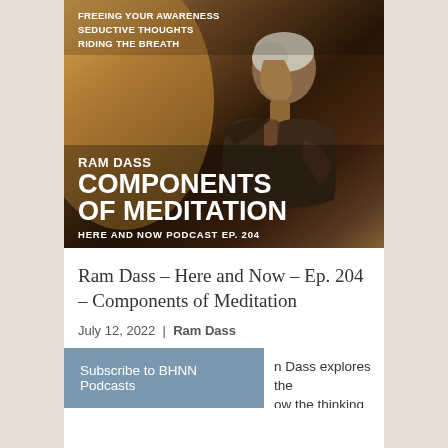[Figure (illustration): Podcast cover art for Ram Dass – Components of Meditation. Features an elderly man in profile against a warm amber/brown background. White bold text reads: FREEING YOUR AWARENESS / SEDUCTIVE THOUGHTS / RIDING THE BREATH at top. Large bold white text at bottom: RAM DASS / COMPONENTS / OF MEDITATION / HERE AND NOW PODCAST EP. 204]
Ram Dass – Here and Now – Ep. 204 – Components of Meditation
July 12, 2022 | Ram Dass
Subscribe to BHNN Podcasts
n Dass explores the ow the thinking